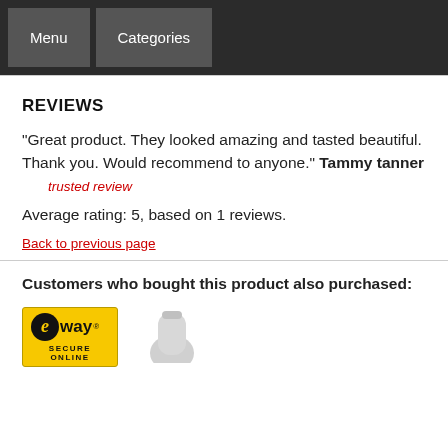Menu   Categories
REVIEWS
"Great product. They looked amazing and tasted beautiful. Thank you. Would recommend to anyone." Tammy tanner
trusted review
Average rating: 5, based on 1 reviews.
Back to previous page
Customers who bought this product also purchased:
[Figure (logo): eWAY Secure Online payment badge in yellow/black]
[Figure (other): Partial image of a product at bottom right]